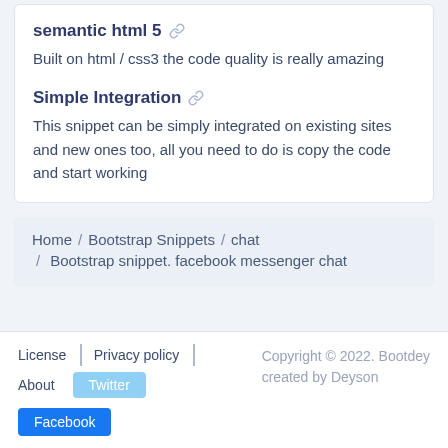semantic html 5 🔗
Built on html / css3 the code quality is really amazing
Simple Integration 🔗
This snippet can be simply integrated on existing sites and new ones too, all you need to do is copy the code and start working
Home / Bootstrap Snippets / chat / Bootstrap snippet. facebook messenger chat
License | Privacy policy | About | Twitter | Facebook | Copyright © 2022. Bootdey created by Deyson